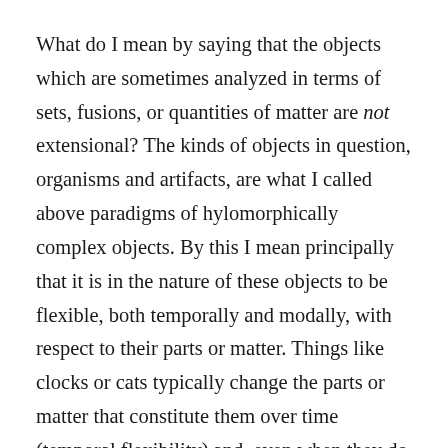What do I mean by saying that the objects which are sometimes analyzed in terms of sets, fusions, or quantities of matter are not extensional? The kinds of objects in question, organisms and artifacts, are what I called above paradigms of hylomorphically complex objects. By this I mean principally that it is in the nature of these objects to be flexible, both temporally and modally, with respect to their parts or matter. Things like clocks or cats typically change the parts or matter that constitute them over time (temporal flexibility) and, even when they do not, they are capable of so doing (modal flexibility).⁸ Another feature of these kinds of objects which makes it problematic to analyze them in terms of sets, fusions, or quantities is that such objects essentially have